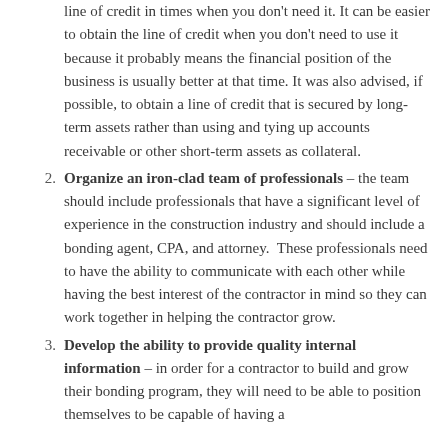line of credit in times when you don't need it. It can be easier to obtain the line of credit when you don't need to use it because it probably means the financial position of the business is usually better at that time. It was also advised, if possible, to obtain a line of credit that is secured by long-term assets rather than using and tying up accounts receivable or other short-term assets as collateral.
Organize an iron-clad team of professionals – the team should include professionals that have a significant level of experience in the construction industry and should include a bonding agent, CPA, and attorney. These professionals need to have the ability to communicate with each other while having the best interest of the contractor in mind so they can work together in helping the contractor grow.
Develop the ability to provide quality internal information – in order for a contractor to build and grow their bonding program, they will need to be able to position themselves to be capable of having a